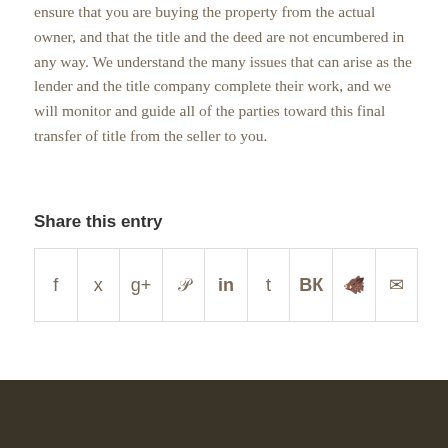ensure that you are buying the property from the actual owner, and that the title and the deed are not encumbered in any way. We understand the many issues that can arise as the lender and the title company complete their work, and we will monitor and guide all of the parties toward this final transfer of title from the seller to you.
Share this entry
[Figure (infographic): Social share buttons row: Facebook (f), Twitter (bird), Google+ (g+), Pinterest (p), LinkedIn (in), Tumblr (t), VK (VK), Reddit (alien), Email (envelope)]